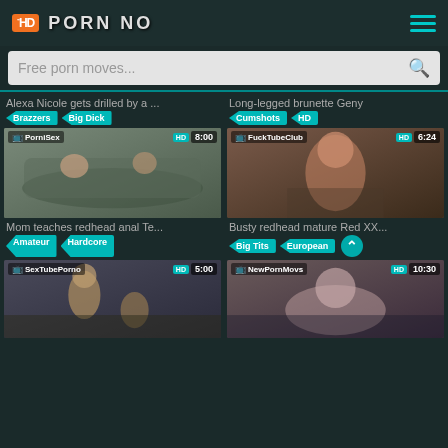HD PORN NO
Free porn moves...
Alexa Nicole gets drilled by a ...
Brazzers   Big Dick
[Figure (screenshot): Video thumbnail - PorniSex, 8:00, HD - Mom teaches redhead anal Te...]
Mom teaches redhead anal Te...
Amateur   Hardcore
Long-legged brunette Geny
Cumshots   HD
[Figure (screenshot): Video thumbnail - FuckTubeClub, 6:24, HD - Busty redhead mature Red XX...]
Busty redhead mature Red XX...
Big Tits   European
[Figure (screenshot): Video thumbnail - SexTubePorno, 5:00, HD]
[Figure (screenshot): Video thumbnail - NewPornMovs, 10:30, HD]